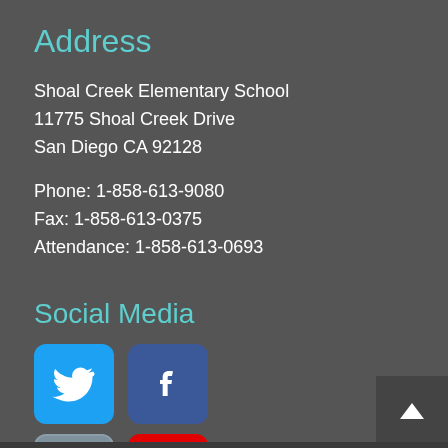Address
Shoal Creek Elementary School
11775 Shoal Creek Drive
San Diego CA 92128

Phone: 1-858-613-9080
Fax: 1-858-613-0375
Attendance: 1-858-613-0693
Social Media
[Figure (illustration): Four social media icons: Twitter (blue bird), Facebook (blue f), Instagram (grey camera), YouTube (red play button)]